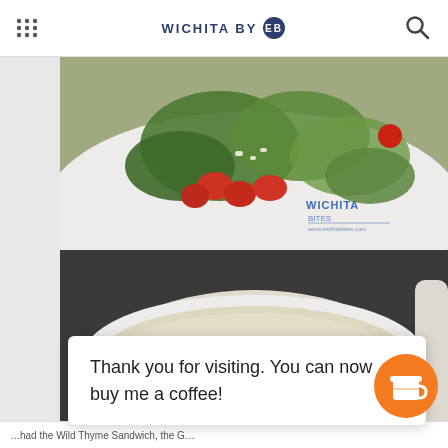WICHITA BY [logo]
[Figure (photo): A plate of salad with green lettuce, tomatoes, cucumber, and herbs. A 'Wichita By EB' logo watermark is visible on the plate.]
[Figure (photo): A white bowl of cream soup garnished with green herbs, on a dark table surface.]
Thank you for visiting. You can now buy me a coffee!
...had the Wild Thyme Sandwich, the G...